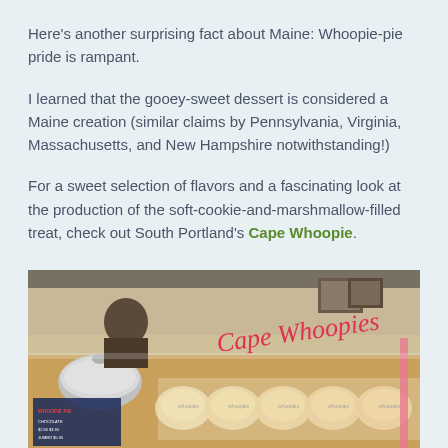Here's another surprising fact about Maine: Whoopie-pie pride is rampant.
I learned that the gooey-sweet dessert is considered a Maine creation (similar claims by Pennsylvania, Virginia, Massachusetts, and New Hampshire notwithstanding!)
For a sweet selection of flavors and a fascinating look at the production of the soft-cookie-and-marshmallow-filled treat, check out South Portland's Cape Whoopie.
[Figure (photo): Interior of Cape Whoopies shop showing a display counter with packaged whoopie pies in clear packaging, a worker behind the counter, a silver dome cover, and red cursive Cape Whoopies signage visible on glass.]